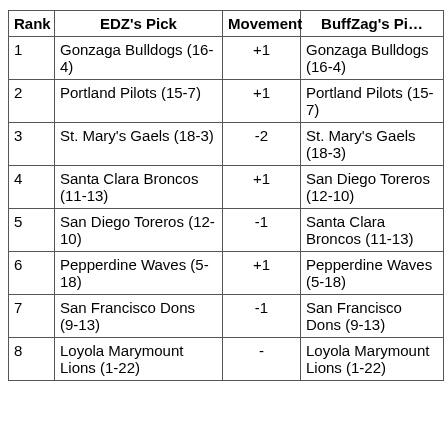| Rank | EDZ's Pick | Movement | BuffZag's Pi… |
| --- | --- | --- | --- |
| 1 | Gonzaga Bulldogs (16-4) | +1 | Gonzaga Bulldogs (16-4) |
| 2 | Portland Pilots (15-7) | +1 | Portland Pilots (15-7) |
| 3 | St. Mary's Gaels (18-3) | -2 | St. Mary's Gaels (18-3) |
| 4 | Santa Clara Broncos (11-13) | +1 | San Diego Toreros (12-10) |
| 5 | San Diego Toreros (12-10) | -1 | Santa Clara Broncos (11-13) |
| 6 | Pepperdine Waves (5-18) | +1 | Pepperdine Waves (5-18) |
| 7 | San Francisco Dons (9-13) | -1 | San Francisco Dons (9-13) |
| 8 | Loyola Marymount Lions (1-22) | - | Loyola Marymount Lions (1-22) |